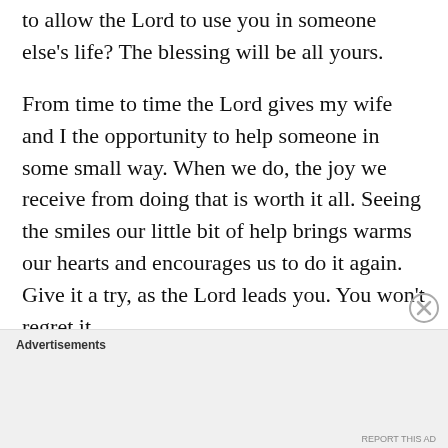to allow the Lord to use you in someone else's life? The blessing will be all yours.
From time to time the Lord gives my wife and I the opportunity to help someone in some small way. When we do, the joy we receive from doing that is worth it all. Seeing the smiles our little bit of help brings warms our hearts and encourages us to do it again. Give it a try, as the Lord leads you. You won't regret it.
Advertisements